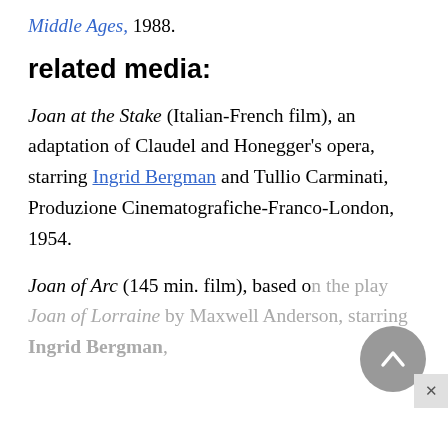Middle Ages, 1988.
related media:
Joan at the Stake (Italian-French film), an adaptation of Claudel and Honegger's opera, starring Ingrid Bergman and Tullio Carminati, Produzione Cinematografiche-Franco-London, 1954.
Joan of Arc (145 min. film), based on the play Joan of Lorraine by Maxwell Anderson, starring Ingrid Bergman,